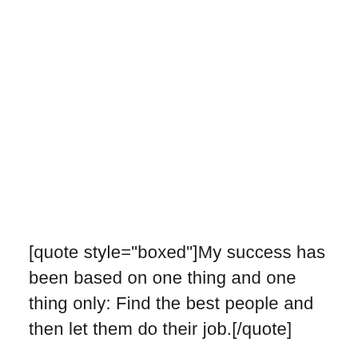[quote style="boxed"]My success has been based on one thing and one thing only: Find the best people and then let them do their job.[/quote]